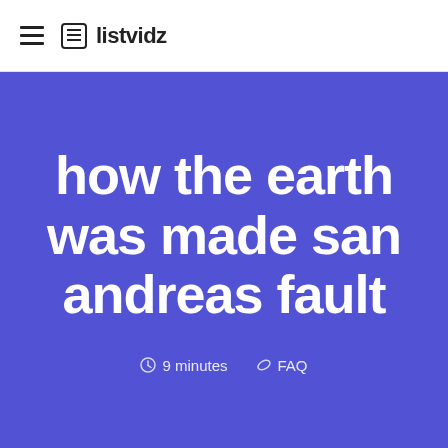listvidz
how the earth was made san andreas fault
9 minutes   FAQ